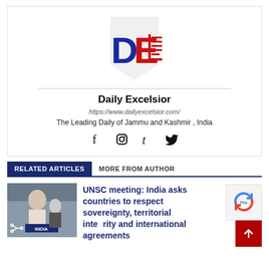[Figure (logo): Daily Excelsior logo with DE letters in blue and red with a newspaper icon]
Daily Excelsior
https://www.dailyexcelsior.com/
The Leading Daily of Jammu and Kashmir , India
[Figure (other): Social media icons: Facebook, Instagram, Tumblr, Twitter]
RELATED ARTICLES  MORE FROM AUTHOR
[Figure (photo): Photo of a woman speaking at a podium with INDIA placard, at what appears to be a UN Security Council meeting]
UNSC meeting: India asks countries to respect sovereignty, territorial integrity and international agreements